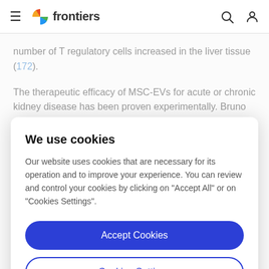frontiers
number of T regulatory cells increased in the liver tissue (172).
The therapeutic efficacy of MSC-EVs for acute or chronic kidney disease has been proven experimentally. Bruno
We use cookies
Our website uses cookies that are necessary for its operation and to improve your experience. You can review and control your cookies by clicking on "Accept All" or on "Cookies Settings".
Accept Cookies
Cookies Settings